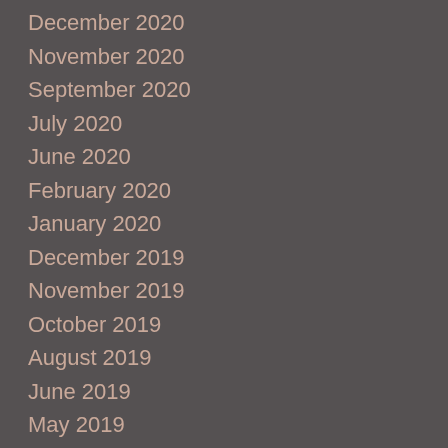December 2020
November 2020
September 2020
July 2020
June 2020
February 2020
January 2020
December 2019
November 2019
October 2019
August 2019
June 2019
May 2019
February 2019
January 2019
October 2018
September 2018
August 2018